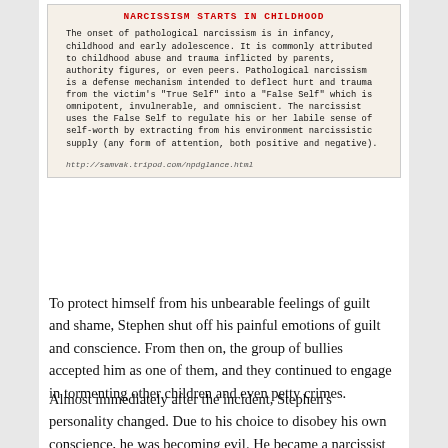[Figure (infographic): Infographic box with red bold title 'NARCISSISM STARTS IN CHILDHOOD' and body text about pathological narcissism, its onset in infancy and childhood, childhood abuse, defense mechanism, False Self, and narcissistic supply. URL at bottom: http://samvak.tripod.com/npdglance.html]
To protect himself from his unbearable feelings of guilt and shame, Stephen shut off his painful emotions of guilt and conscience. From then on, the group of bullies accepted him as one of them, and they continued to engage in tormenting other children and even petty crimes.
Almost immediately after the incident, Stephen's personality changed. Due to his choice to disobey his own conscience, he was becoming evil. He became a narcissist to protect himself from a of the painful feelings it...